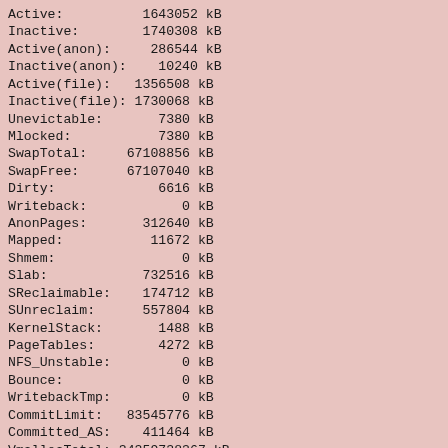Active:          1643052 kB
Inactive:        1740308 kB
Active(anon):     286544 kB
Inactive(anon):    10240 kB
Active(file):   1356508 kB
Inactive(file): 1730068 kB
Unevictable:       7380 kB
Mlocked:           7380 kB
SwapTotal:     67108856 kB
SwapFree:      67107040 kB
Dirty:             6616 kB
Writeback:            0 kB
AnonPages:       312640 kB
Mapped:           11672 kB
Shmem:                0 kB
Slab:            732516 kB
SReclaimable:    174712 kB
SUnreclaim:      557804 kB
KernelStack:       1488 kB
PageTables:        4272 kB
NFS_Unstable:         0 kB
Bounce:               0 kB
WritebackTmp:         0 kB
CommitLimit:   83545776 kB
Committed_AS:    411464 kB
VmallocTotal: 34359738367 kB
VmallocUsed:     346376 kB
VmallocChunk: 34341987860 kB
HardwareCorrupted:    0 kB
AnonHugePages:   290816 kB
HugePages_Total:      0
HugePages_Free:       0